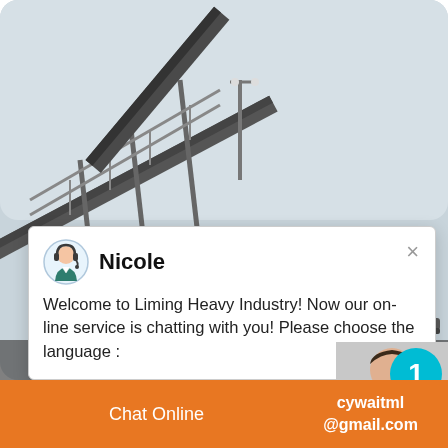[Figure (photo): Industrial conveyor belts and mining/processing facility infrastructure against a grey sky. Large inclined conveyor structures visible with metal silos or storage tanks in background.]
Nicole
Welcome to Liming Heavy Industry! Now our on-line service is chatting with you! Please choose the language :
Uranium mining and ore processing in Ukraine ...
[Figure (photo): Person wearing striped shirt talking on phone, with a cyan notification badge showing number 1, and an orange 'Click to chat' button below.]
Click to chat
Enquiry
Chat Online
cywaitml
@gmail.com